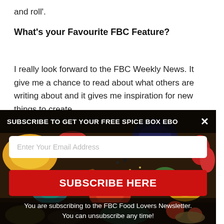and roll'.
What's your Favourite FBC Feature?
I really look forward to the FBC Weekly News. It give me a chance to read about what others are writing about and it gives me inspiration for new things to create.
[Figure (other): Popup overlay with spice-themed background showing colorful spices and bowls. Contains a subscription banner reading 'SUBSCRIBE TO GET YOUR FREE SPICE BOX EBO' with a close X button, an email input field, a red 'SUBSCRIBE HERE' button, and footer text: 'You are subscribing to the FBC Food Lovers Newsletter. You can unsubscribe any time!']